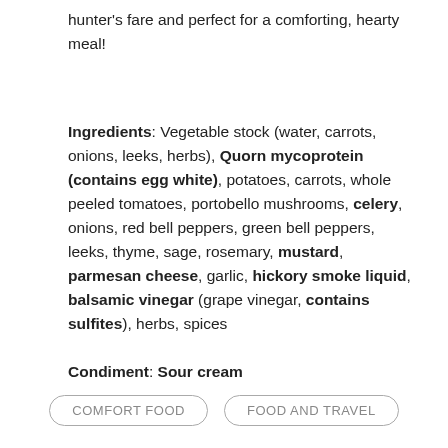hunter's fare and perfect for a comforting, hearty meal!
Ingredients: Vegetable stock (water, carrots, onions, leeks, herbs), Quorn mycoprotein (contains egg white), potatoes, carrots, whole peeled tomatoes, portobello mushrooms, celery, onions, red bell peppers, green bell peppers, leeks, thyme, sage, rosemary, mustard, parmesan cheese, garlic, hickory smoke liquid, balsamic vinegar (grape vinegar, contains sulfites), herbs, spices
Condiment: Sour cream
COMFORT FOOD
FOOD AND TRAVEL